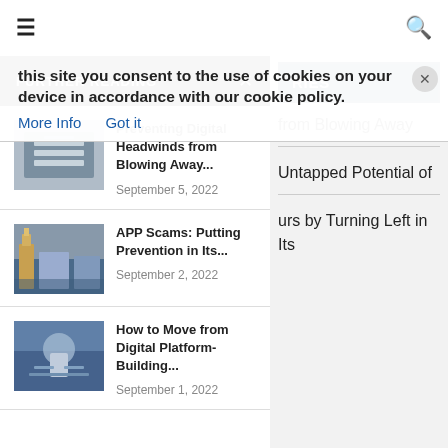≡ [navigation] 🔍
this site you consent to the use of cookies on your device in accordance with our cookie policy.  More Info   Got it
FURTHER READING
[Figure (photo): IBM building/server photo for article about Preventing Digital Headwinds]
Preventing Digital Headwinds from Blowing Away...
September 5, 2022
[Figure (photo): Big Ben / Westminster photo for APP Scams article]
APP Scams: Putting Prevention in Its...
September 2, 2022
[Figure (photo): Digital platform person photo for How to Move article]
How to Move from Digital Platform-Building...
September 1, 2022
from Blowing Away
Untapped Potential of
urs by Turning Left in Its